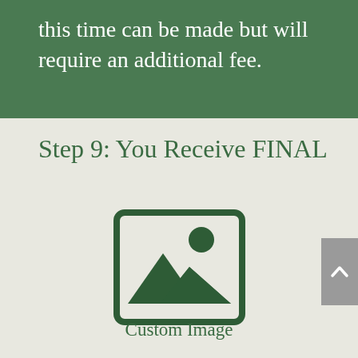this time can be made but will require an additional fee.
Step 9: You Receive FINAL
[Figure (illustration): Image placeholder icon — a rectangle with rounded corners containing a mountain landscape silhouette and a circle (sun), rendered in dark green on light background]
Custom Image